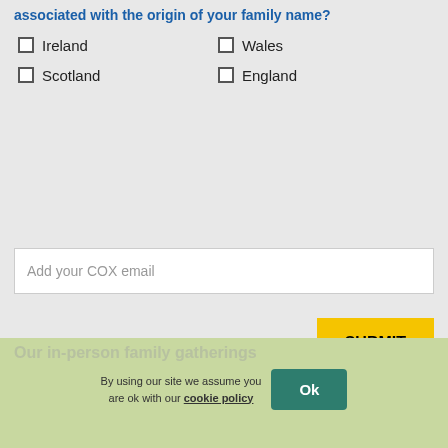associated with the origin of your family name?
Ireland
Wales
Scotland
England
Add your COX email
SUBMIT
Don't forget to share within your family whatsapp groups
[Figure (logo): WhatsApp green phone logo icon]
Our in-person family gatherings
By using our site we assume you are ok with our cookie policy
Ok